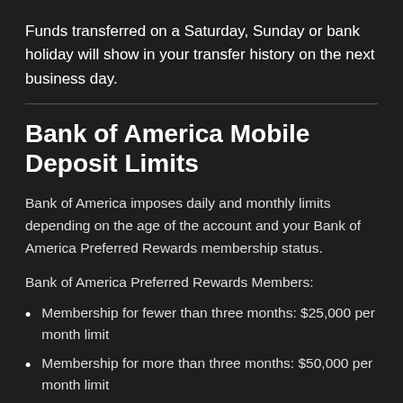Funds transferred on a Saturday, Sunday or bank holiday will show in your transfer history on the next business day.
Bank of America Mobile Deposit Limits
Bank of America imposes daily and monthly limits depending on the age of the account and your Bank of America Preferred Rewards membership status.
Bank of America Preferred Rewards Members:
Membership for fewer than three months: $25,000 per month limit
Membership for more than three months: $50,000 per month limit